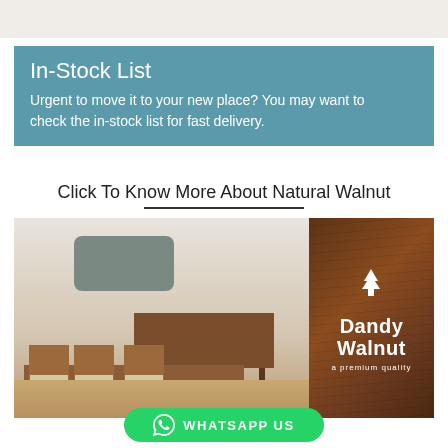[Figure (photo): Top gray strip image area]
In-Stock List
Urgent to move it to your new place? You may want to check the in-stock list for fast delivery.
Click To Know More About Natural Walnut
[Figure (photo): Left: Dining room with walnut furniture including chairs, dining table, and sideboard against a white brick wall with a mirror. Right: Dark walnut wood panel with Dandy Walnut logo and tagline 'a premium quality']
WHATSAPP US